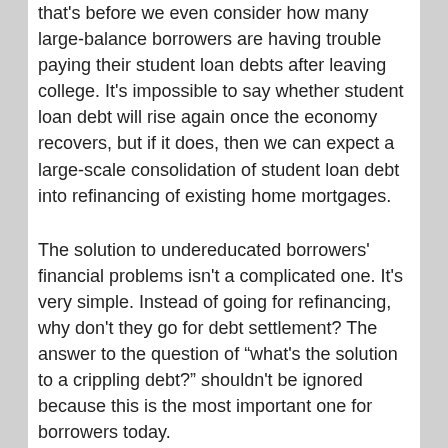that's before we even consider how many large-balance borrowers are having trouble paying their student loan debts after leaving college. It's impossible to say whether student loan debt will rise again once the economy recovers, but if it does, then we can expect a large-scale consolidation of student loan debt into refinancing of existing home mortgages.
The solution to undereducated borrowers' financial problems isn't a complicated one. It's very simple. Instead of going for refinancing, why don't they go for debt settlement? The answer to the question of "what's the solution to a crippling debt?" shouldn't be ignored because this is the most important one for borrowers today.
Today, the federal government has introduced five percent liability settlements as an alternative to bankruptcy. This means that borrowers who can't repay